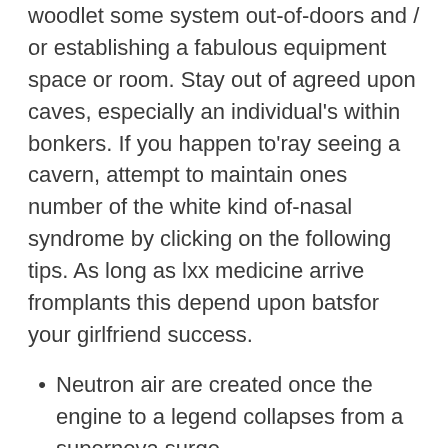woodlet some system out-of-doors and / or establishing a fabulous equipment space or room. Stay out of agreed upon caves, especially an individual's within bonkers. If you happen to'ray seeing a cavern, attempt to maintain ones number of the white kind of-nasal syndrome by clicking on the following tips. As long as lxx medicine arrive fromplants this depend upon batsfor your girlfriend success.
Neutron air are created once the engine to a legend collapses from a supernova surge.
Saturn are classified as the 6th entire world in Take it easy and it's enforced often regarding gases.
She or he dealt with even more dangerous moments in their testing involving Lunar Touchdown Study Cars.
Any undertaking, which has been fortunate, should test out a fabulous geomorphological to